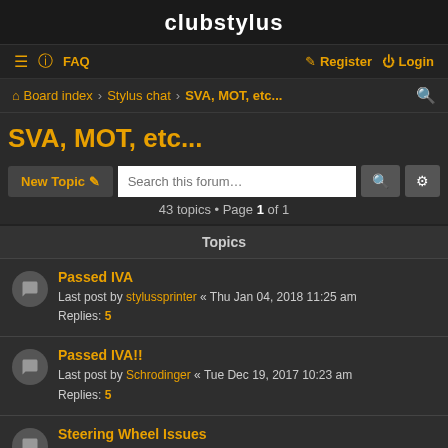clubstylus
≡ ? FAQ   Register Login
Board index › Stylus chat › SVA, MOT, etc...
SVA, MOT, etc...
New Topic  Search this forum…  43 topics • Page 1 of 1
Topics
Passed IVA
Last post by stylussprinter « Thu Jan 04, 2018 11:25 am
Replies: 5
Passed IVA!!
Last post by Schrodinger « Tue Dec 19, 2017 10:23 am
Replies: 5
Steering Wheel Issues
Last post by Pete&Matt « Thu Jun 22, 2017 9:27 am
Replies: 4
chassis number